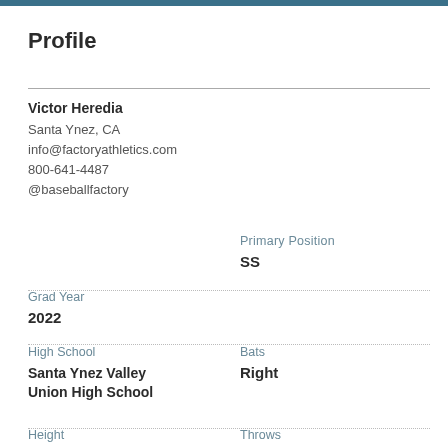Profile
Victor Heredia
Santa Ynez, CA
info@factoryathletics.com
800-641-4487
@baseballfactory
Primary Position
SS
Grad Year
2022
High School
Santa Ynez Valley Union High School
Bats
Right
Height
Throws